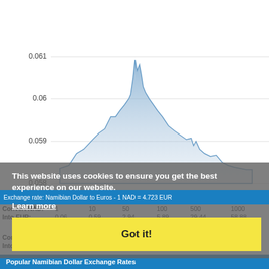[Figure (area-chart): Area chart showing NAD to EUR exchange rate from approximately May to August, ranging from 0.058 to 0.061, with a peak around early July.]
This website uses cookies to ensure you get the best experience on our website.
Learn more
Exchange rate: Namibian Dollar to Euros - 1 NAD = 4.723 EUR
| Convert NAD: | 1 | 10 | 50 | 100 | 500 | 1000 |
| --- | --- | --- | --- | --- | --- | --- |
| Into EUR: | 0.06 | 0.59 | 2.94 | 5.89 | 29.44 | 58.88 |
| Convert NAD: | 2500 | 5000 | 7500 | 10000 | 50000 | 100000 |
| --- | --- | --- | --- | --- | --- | --- |
| Into EUR: | 147.21 | 294.42 | 441.63 | 588.84 | 2944.19 | 5888.38 |
Got it!
Popular Namibian Dollar Exchange Rates